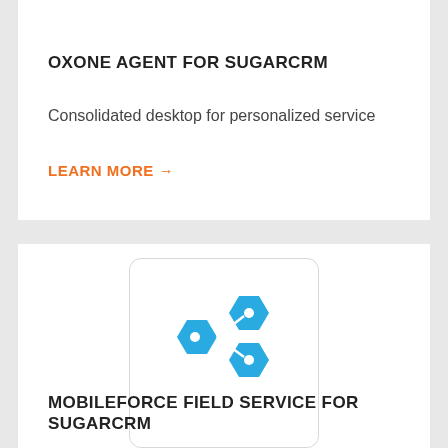[Figure (logo): Small rounded rectangle logo box with partial content visible at top]
OXONE AGENT FOR SUGARCRM
Consolidated desktop for personalized service
LEARN MORE →
[Figure (logo): Blue hexagon network/connector icon for MobileForce Field Service for SugarCRM]
MOBILEFORCE FIELD SERVICE FOR SUGARCRM